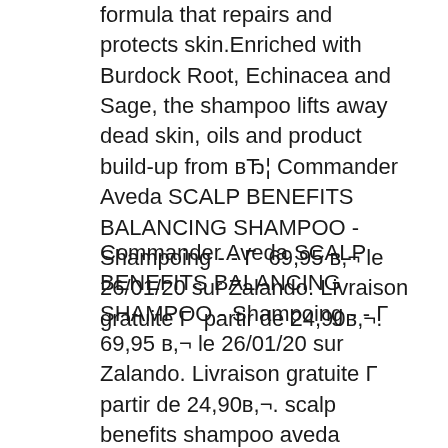formula that repairs and protects skin.Enriched with Burdock Root, Echinacea and Sage, the shampoo lifts away dead skin, oils and product build-up from вЂ¦ Commander Aveda SCALP BENEFITS BALANCING SHAMPOO - Shampoing - - Г  69,95 в,¬ le 26/01/20 sur Zalando. Livraison gratuite Г  partir de 24,90в,¬.
Commander Aveda SCALP BENEFITS BALANCING SHAMPOO - Shampoing - - Г  69,95 в,¬ le 26/01/20 sur Zalando. Livraison gratuite Г  partir de 24,90в,¬. scalp benefits shampoo aveda Related Searches: aveda scalp benefits , aveda scalp shampoo Follow your nose to the artfully blended aroma of Aveda and